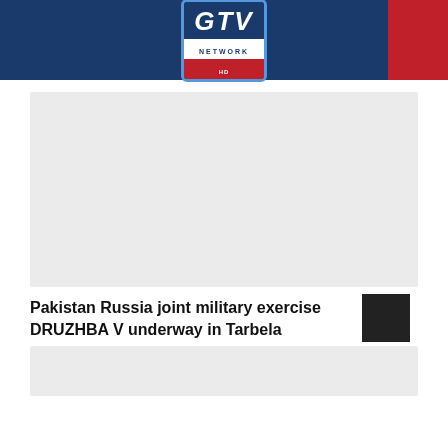GTV NETWORK HD
[Figure (photo): Main article image placeholder, light gray rectangle]
Pakistan Russia joint military exercise DRUZHBA V underway in Tarbela
[Figure (photo): Article content snippet image placeholder, light gray rectangle]